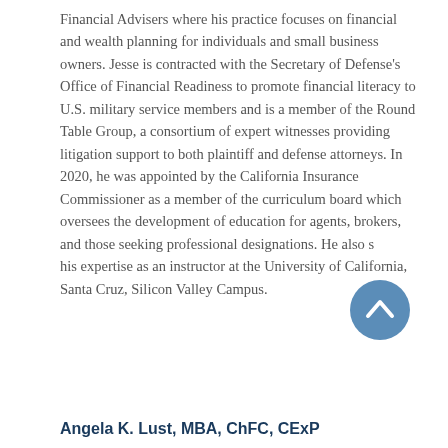Financial Advisers where his practice focuses on financial and wealth planning for individuals and small business owners. Jesse is contracted with the Secretary of Defense's Office of Financial Readiness to promote financial literacy to U.S. military service members and is a member of the Round Table Group, a consortium of expert witnesses providing litigation support to both plaintiff and defense attorneys. In 2020, he was appointed by the California Insurance Commissioner as a member of the curriculum board which oversees the development of education for agents, brokers, and those seeking professional designations. He also shares his expertise as an instructor at the University of California, Santa Cruz, Silicon Valley Campus.
[Figure (other): A circular blue button with an upward-pointing chevron/arrow icon, used as a scroll-to-top navigation element.]
Angela K. Lust, MBA, ChFC, CExP